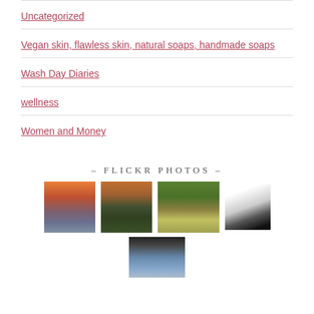Uncategorized
Vegan skin, flawless skin, natural soaps, handmade soaps
Wash Day Diaries
wellness
Women and Money
– FLICKR PHOTOS –
[Figure (photo): Grid of 5 Flickr photos: sunset over rocky ocean shore, golden hour coastal landscape, small animal on flower, white wolf portrait in black and white, and an architectural arch framing a cityscape.]